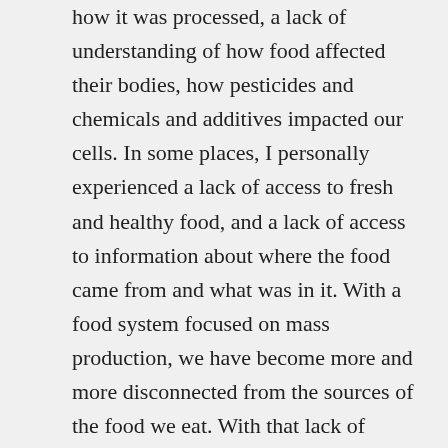how it was processed, a lack of understanding of how food affected their bodies, how pesticides and chemicals and additives impacted our cells. In some places, I personally experienced a lack of access to fresh and healthy food, and a lack of access to information about where the food came from and what was in it. With a food system focused on mass production, we have become more and more disconnected from the sources of the food we eat. With that lack of exposure, many of us have lost our curiosity and gratitude for that food as well.
I have a lot of stories about my experience from food all around the world- from harvesting food in our organic gardens to witnessing the working conditions of workers in fields in countries such as Morocco and Mexico. My hope is that my stories might inspire others